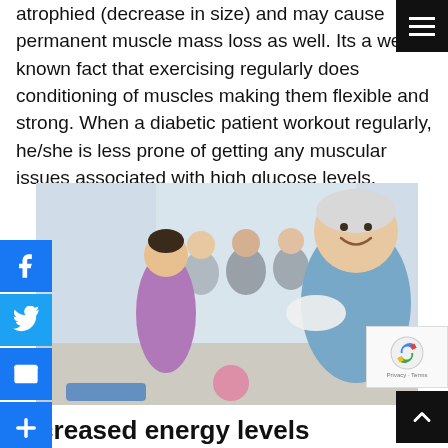atrophied (decrease in size) and may cause permanent muscle mass loss as well. Its a well known fact that exercising regularly does conditioning of muscles making them flexible and strong. When a diabetic patient workout regularly, he/she is less prone of getting any muscular issues associated with high glucose levels.
[Figure (photo): Group of people exercising/jogging indoors in a gym, led by a smiling older woman with white hair wearing a blue shirt and white towel.]
Increased energy levels
As diabetes is a kind of disease which makes you fatigued earlier than usual due to increased levels of blood glucose in